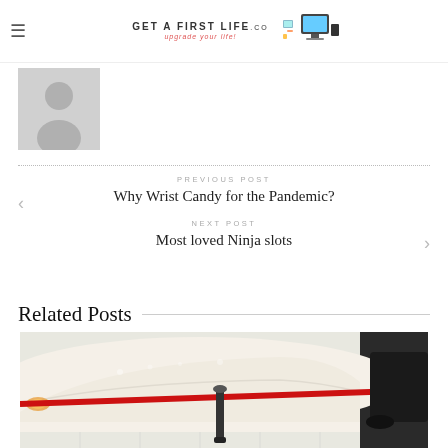GET A FIRST LIFE — upgrade your life!
[Figure (photo): Avatar placeholder — grey silhouette of a person on white background]
PREVIOUS POST
Why Wrist Candy for the Pandemic?
NEXT POST
Most loved Ninja slots
Related Posts
[Figure (photo): White car at a dealership with a red rope barrier and a black stanchion post in the foreground]